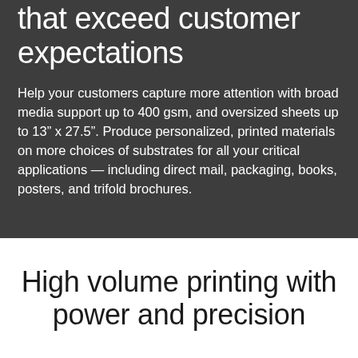that exceed customer expectations
Help your customers capture more attention with broad media support up to 400 gsm, and oversized sheets up to 13” x 27.5”. Produce personalized, printed materials on more choices of substrates for all your critical applications — including direct mail, packaging, books, posters, and trifold brochures.
High volume printing with power and precision